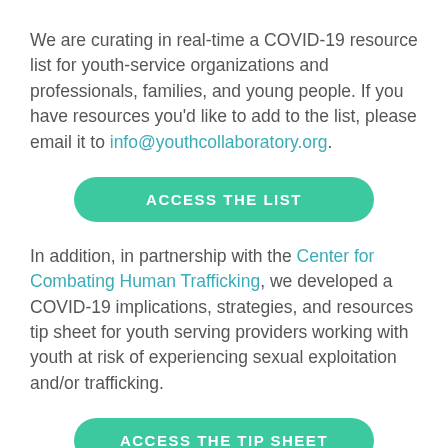We are curating in real-time a COVID-19 resource list for youth-service organizations and professionals, families, and young people. If you have resources you'd like to add to the list, please email it to info@youthcollaboratory.org.
[Figure (other): Green rounded button labeled ACCESS THE LIST]
In addition, in partnership with the Center for Combating Human Trafficking, we developed a COVID-19 implications, strategies, and resources tip sheet for youth serving providers working with youth at risk of experiencing sexual exploitation and/or trafficking.
[Figure (other): Green rounded button labeled ACCESS THE TIP SHEET]